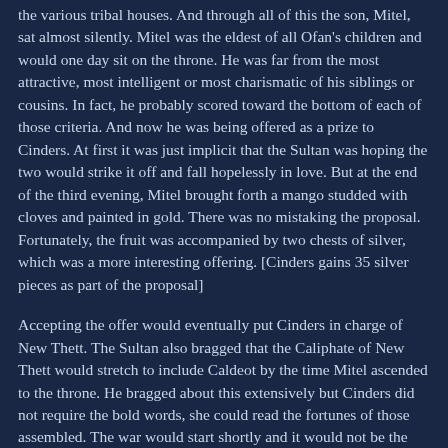the various tribal houses. And through all of this the son, Mitel, sat almost silently. Mitel was the eldest of all Ofan's children and would one day sit on the throne. He was far from the most attractive, most intelligent or most charismatic of his siblings or cousins. In fact, he probably scored toward the bottom of each of those criteria. And now he was being offered as a prize to Cinders. At first it was just implicit that the Sultan was hoping the two would strike it off and fall hopelessly in love. But at the end of the third evening, Mitel brought forth a mango studded with cloves and painted in gold. There was no mistaking the proposal. Fortunately, the fruit was accompanied by two chests of silver, which was a more interesting offering. [Cinders gains 35 silver pieces as part of the proposal]
Accepting the offer would eventually put Cinders in charge of New Thett. The Sultan also bragged that the Caliphate of New Thett would stretch to include Caldeot by the time Mitel ascended to the throne. He bragged about this extensively but Cinders did not require the bold words, she could read the fortunes of those assembled. The war would start shortly and it would not be the decisive victory that the Sultan expected. It would be long and bloody and without any real winner for some years while the machinations of Nephroditi and Selin